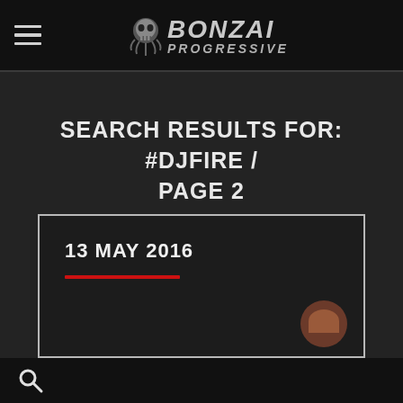BONZAI PROGRESSIVE
SEARCH RESULTS FOR: #DJFIRE / PAGE 2
13 MAY 2016